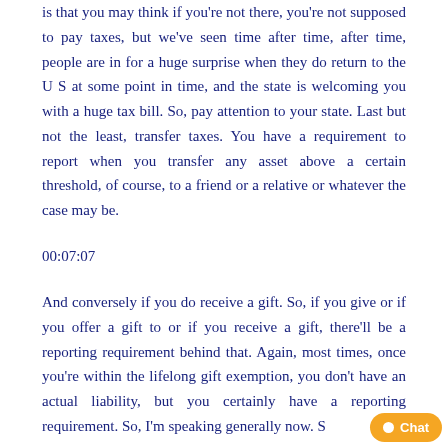is that you may think if you're not there, you're not supposed to pay taxes, but we've seen time after time, after time, people are in for a huge surprise when they do return to the U S at some point in time, and the state is welcoming you with a huge tax bill. So, pay attention to your state. Last but not the least, transfer taxes. You have a requirement to report when you transfer any asset above a certain threshold, of course, to a friend or a relative or whatever the case may be.
00:07:07
And conversely if you do receive a gift. So, if you give or if you offer a gift to or if you receive a gift, there'll be a reporting requirement behind that. Again, most times, once you're within the lifelong gift exemption, you don't have an actual liability, but you certainly have a reporting requirement. So, I'm speaking generally now. S